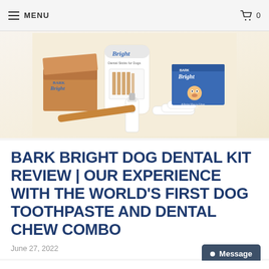MENU  🛒 0
[Figure (photo): Bark Bright dog dental kit product photo showing a branded box, a bag of dental sticks, a tube of toothpaste, a dental chew, a finger brush, and a blue booklet, all arranged on a cream background.]
BARK BRIGHT DOG DENTAL KIT REVIEW | OUR EXPERIENCE WITH THE WORLD'S FIRST DOG TOOTHPASTE AND DENTAL CHEW COMBO
June 27, 2022